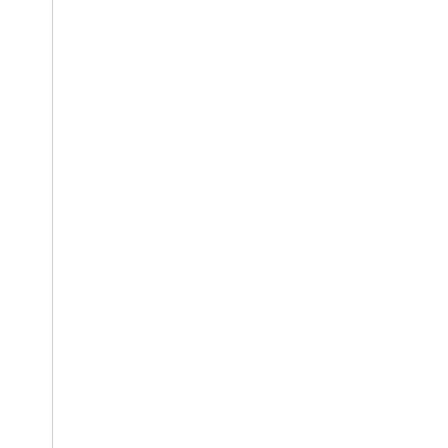Mary sat down by Mrs. Buckle at her sprightliness and good what had passed the night be rather more merry than usual. determined to defy her father, when she was putting on her
“My love, I hope you will alwa your true friend. Good night.”
And having bidden her good n
Troubridge sat still before the Vicar had said.
“My love,” said the Vicar, “I an there is nothing to do, but to s
“Why, cousin Tom,” she said, since I saw you.”
“Isn’t it?” he replied; “such a v
“You ought to remember,” she
She went to her room, but no